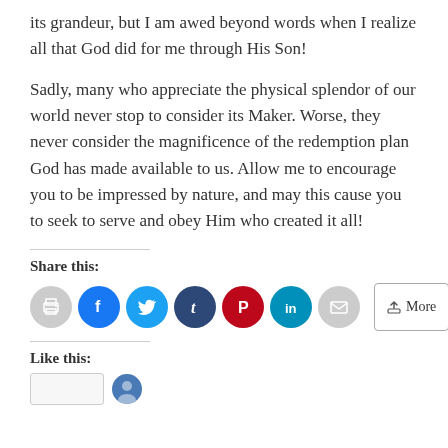its grandeur, but I am awed beyond words when I realize all that God did for me through His Son!
Sadly, many who appreciate the physical splendor of our world never stop to consider its Maker. Worse, they never consider the magnificence of the redemption plan God has made available to us. Allow me to encourage you to be impressed by nature, and may this cause you to seek to serve and obey Him who created it all!
Share this:
[Figure (infographic): Row of social sharing icon buttons: print (gray circle), facebook (blue circle), twitter (cyan circle), tumblr (dark blue circle), pinterest (red circle), linkedin (teal circle), email (gray circle), and a 'More' button with share icon]
Like this:
[Figure (other): Like button box and a circular avatar image]